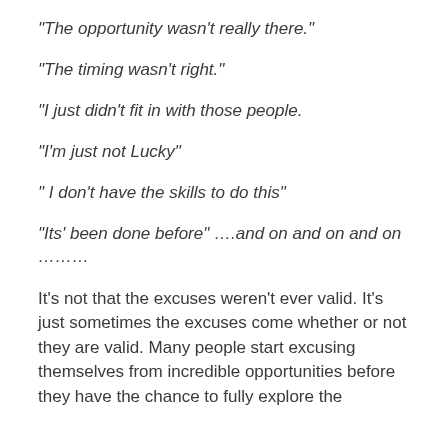“The opportunity wasn’t really there.”
“The timing wasn’t right.”
“I just didn’t fit in with those people.
“I’m just not Lucky”
“ I don’t have the skills to do this”
“Its’ been done before” ….and on and on and on ……..
It’s not that the excuses weren’t ever valid. It’s just sometimes the excuses come whether or not they are valid. Many people start excusing themselves from incredible opportunities before they have the chance to fully explore the